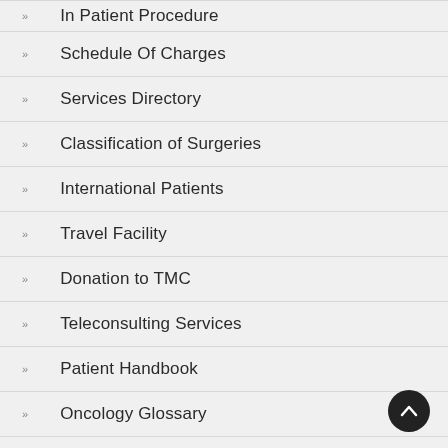In Patient Procedure
Schedule Of Charges
Services Directory
Classification of Surgeries
International Patients
Travel Facility
Donation to TMC
Teleconsulting Services
Patient Handbook
Oncology Glossary
Useful Extension Numbers